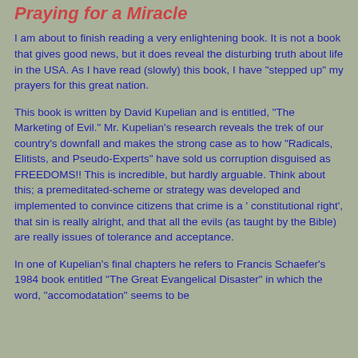Praying for a Miracle
I am about to finish reading a very enlightening book. It is not a book that gives good news, but it does reveal the disturbing truth about life in the USA. As I have read (slowly) this book, I have "stepped up" my prayers for this great nation.
This book is written by David Kupelian and is entitled, "The Marketing of Evil." Mr. Kupelian's research reveals the trek of our country's downfall and makes the strong case as to how "Radicals, Elitists, and Pseudo-Experts" have sold us corruption disguised as FREEDOMS!! This is incredible, but hardly arguable. Think about this; a premeditated-scheme or strategy was developed and implemented to convince citizens that crime is a ' constitutional right', that sin is really alright, and that all the evils (as taught by the Bible) are really issues of tolerance and acceptance.
In one of Kupelian's final chapters he refers to Francis Schaefer's 1984 book entitled "The Great Evangelical Disaster" in which the word, "accomodatation" seems to be